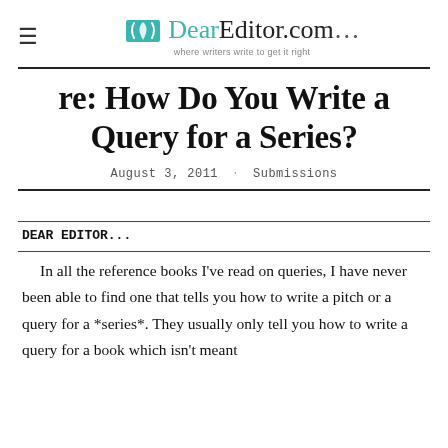DearEditor.com… where writers write to get it right
re: How Do You Write a Query for a Series?
August 3, 2011 · Submissions
DEAR EDITOR...
In all the reference books I've read on queries, I have never been able to find one that tells you how to write a pitch or a query for a *series*. They usually only tell you how to write a query for a book which isn't meant